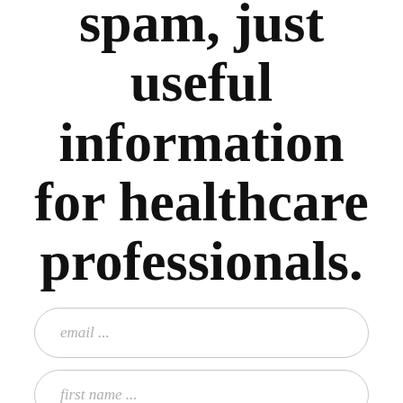spam, just useful information for healthcare professionals.
email ...
first name ...
last name ...
[Figure (other): Orange rounded submit button, partially visible at bottom of page]
[Figure (other): Teal/blue circular chat bubble icon with speech bubble symbol, bottom right corner]